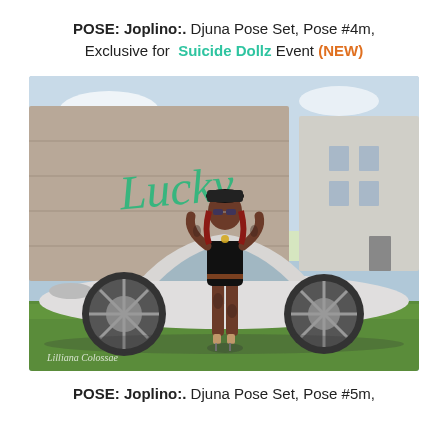POSE: Joplino:. Djuna Pose Set, Pose #4m, Exclusive for Suicide Dollz Event (NEW)
[Figure (photo): A 3D rendered woman in a black mini dress and heels with tattoos, wearing a black hat and sunglasses, standing in front of a white sports car (Lamborghini-style). Behind is a concrete wall with green graffiti text 'Lucky', and a modern building on the right. Grass in the foreground. Watermark reads 'Lilliana Colossae'.]
POSE: Joplino:. Djuna Pose Set, Pose #5m,